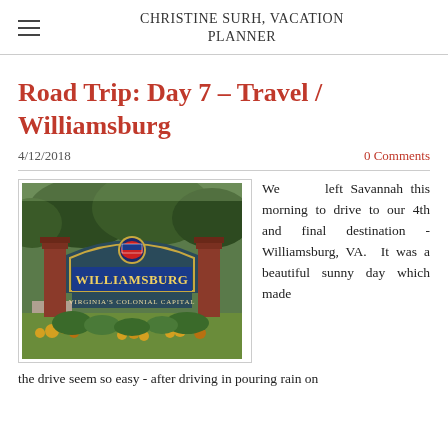CHRISTINE SURH, VACATION PLANNER
Road Trip: Day 7 – Travel / Williamsburg
4/12/2018
0 Comments
[Figure (photo): Williamsburg, Virginia's Colonial Capital welcome sign with brick posts, decorative arch, flowers in foreground, trees in background]
We left Savannah this morning to drive to our 4th and final destination - Williamsburg, VA. It was a beautiful sunny day which made the drive seem so easy - after driving in pouring rain on